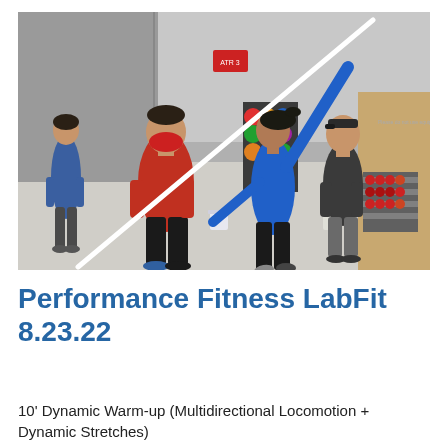[Figure (photo): Indoor gym scene: a woman in a blue shirt and black pants performs an exercise with a long pole/bar raised overhead diagonally; a man in a red shirt and black shorts with a red face mask watches; another man in a dark t-shirt and shorts stands in the background right; a man in a blue shirt stands at far left. Gym equipment including dumbbells on a rack and medicine balls visible in background.]
Performance Fitness LabFit 8.23.22
10' Dynamic Warm-up (Multidirectional Locomotion + Dynamic Stretches)